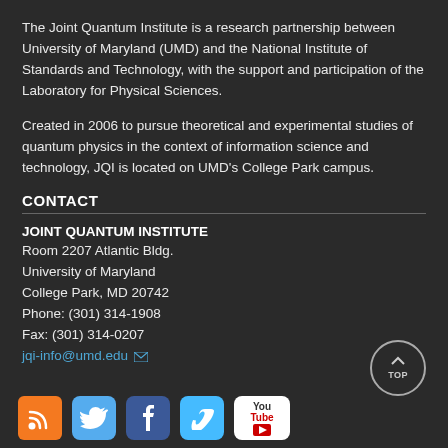The Joint Quantum Institute is a research partnership between University of Maryland (UMD) and the National Institute of Standards and Technology, with the support and participation of the Laboratory for Physical Sciences.
Created in 2006 to pursue theoretical and experimental studies of quantum physics in the context of information science and technology, JQI is located on UMD's College Park campus.
CONTACT
JOINT QUANTUM INSTITUTE
Room 2207 Atlantic Bldg.
University of Maryland
College Park, MD 20742
Phone: (301) 314-1908
Fax: (301) 314-0207
jqi-info@umd.edu
[Figure (logo): Social media icons: RSS (orange), Twitter (blue bird), Facebook (blue f), Vimeo (blue v), YouTube (red/white)]
[Figure (other): TOP button - circular button with up arrow and TOP label]